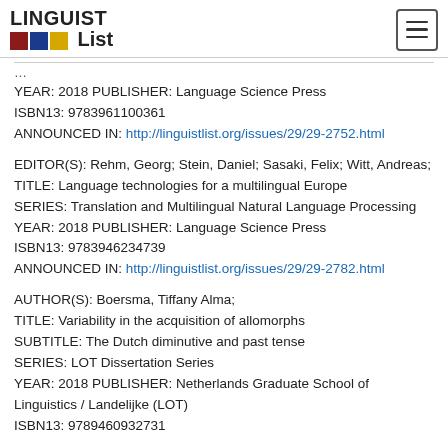LINGUIST List
YEAR: 2018 PUBLISHER: Language Science Press
ISBN13: 9783961100361
ANNOUNCED IN: http://linguistlist.org/issues/29/29-2752.html
EDITOR(S): Rehm, Georg; Stein, Daniel; Sasaki, Felix; Witt, Andreas;
TITLE: Language technologies for a multilingual Europe
SERIES: Translation and Multilingual Natural Language Processing
YEAR: 2018 PUBLISHER: Language Science Press
ISBN13: 9783946234739
ANNOUNCED IN: http://linguistlist.org/issues/29/29-2782.html
AUTHOR(S): Boersma, Tiffany Alma;
TITLE: Variability in the acquisition of allomorphs
SUBTITLE: The Dutch diminutive and past tense
SERIES: LOT Dissertation Series
YEAR: 2018 PUBLISHER: Netherlands Graduate School of Linguistics / Landelijke (LOT)
ISBN13: 9789460932731